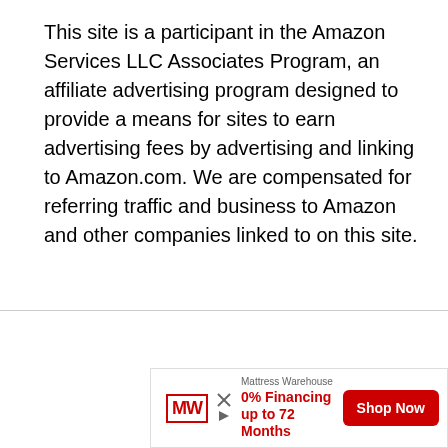This site is a participant in the Amazon Services LLC Associates Program, an affiliate advertising program designed to provide a means for sites to earn advertising fees by advertising and linking to Amazon.com. We are compensated for referring traffic and business to Amazon and other companies linked to on this site.
Privacy Policy   Sitemap
© 2022 Copyright Sunshine & Play
[Figure (other): Advertisement banner for Mattress Warehouse showing MW logo, '0% Financing up to 72 Months' text in red, and a red 'Shop Now' button.]